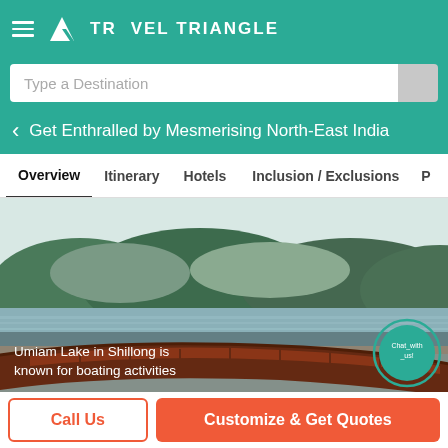TRAVEL TRIANGLE
Type a Destination
Get Enthralled by Mesmerising North-East India
Overview   Itinerary   Hotels   Inclusion / Exclusions   P...
[Figure (photo): A wooden boat at Umiam Lake in Shillong with forested hills and water in background. Caption reads: Umiam Lake in Shillong is known for boating activities]
Umiam Lake in Shillong is known for boating activities
Call Us
Customize & Get Quotes